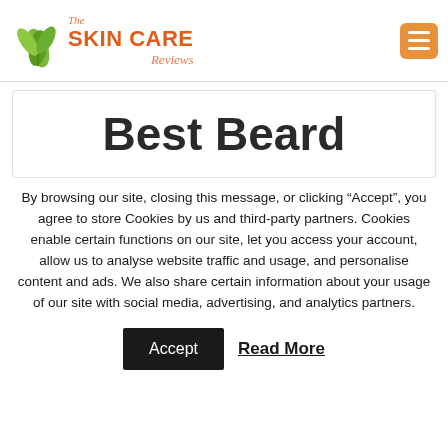[Figure (logo): The Skin Care Reviews logo with green leaf icon and orange/red text]
Best Beard
By browsing our site, closing this message, or clicking “Accept”, you agree to store Cookies by us and third-party partners. Cookies enable certain functions on our site, let you access your account, allow us to analyse website traffic and usage, and personalise content and ads. We also share certain information about your usage of our site with social media, advertising, and analytics partners.
Accept   Read More